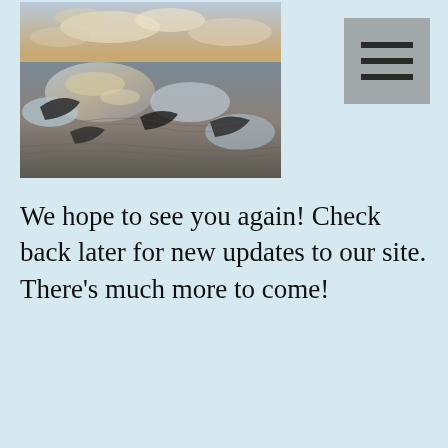[Figure (photo): A coastal beach scene photographed from above or at an angle, showing wet sand with rippled patterns, shallow water reflecting clouds and a dramatic sky with warm sunset/sunrise tones. Dark rock formations are visible amid the reflective water.]
We hope to see you again! Check back later for new updates to our site. There's much more to come!